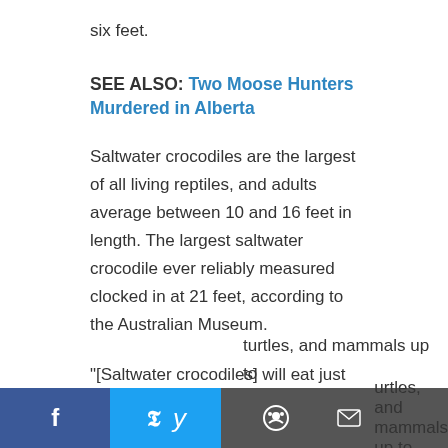six feet.
SEE ALSO: Two Moose Hunters Murdered in Alberta
Saltwater crocodiles are the largest of all living reptiles, and adults average between 10 and 16 feet in length. The largest saltwater crocodile ever reliably measured clocked in at 21 feet, according to the Australian Museum.
"[Saltwater crocodiles] will eat just about any animal that they can catch and overpower," the museum notes. "Small crocodiles feed frequently on small prey, such as insects and crustaceans, whereas larger individuals feed less often and on bigger prey, turtles, and mammals up to
[Figure (other): Social media sharing bar at the bottom with Facebook (blue), Twitter (light blue), Reddit (grey), and email (grey) icons]